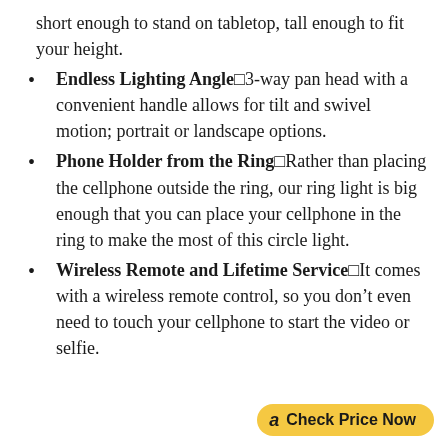short enough to stand on tabletop, tall enough to fit your height.
Endless Lighting Angle□3-way pan head with a convenient handle allows for tilt and swivel motion; portrait or landscape options.
Phone Holder from the Ring□Rather than placing the cellphone outside the ring, our ring light is big enough that you can place your cellphone in the ring to make the most of this circle light.
Wireless Remote and Lifetime Service□It comes with a wireless remote control, so you don’t even need to touch your cellphone to start the video or selfie.